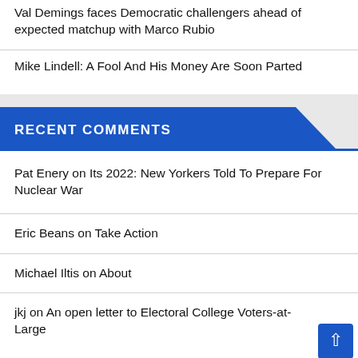Val Demings faces Democratic challengers ahead of expected matchup with Marco Rubio
Mike Lindell: A Fool And His Money Are Soon Parted
RECENT COMMENTS
Pat Enery on Its 2022: New Yorkers Told To Prepare For Nuclear War
Eric Beans on Take Action
Michael Iltis on About
jkj on An open letter to Electoral College Voters-at-Large